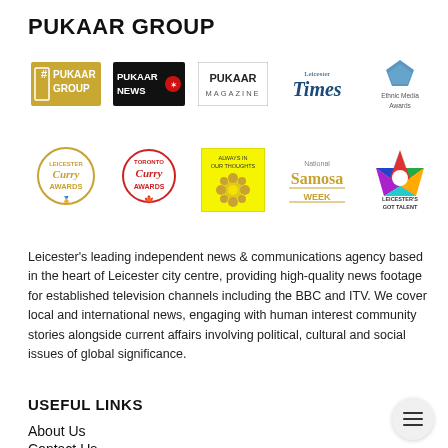PUKAAR GROUP
[Figure (logo): Pukaar Group logo grid row 1: Pukaar Group hashtag logo, Pukaar News logo, Pukaar Magazine logo, Leicester Times logo, Ethnic Media Awards logo]
[Figure (logo): Pukaar Group logo grid row 2: Leicester Curry Awards, Toronto Curry Awards, Always In Our Thoughts, National Samosa Week, Leicester's Got Talent]
Leicester's leading independent news & communications agency based in the heart of Leicester city centre, providing high-quality news footage for established television channels including the BBC and ITV. We cover local and international news, engaging with human interest community stories alongside current affairs involving political, cultural and social issues of global significance.
USEFUL LINKS
About Us
Contact Us
Get Involved